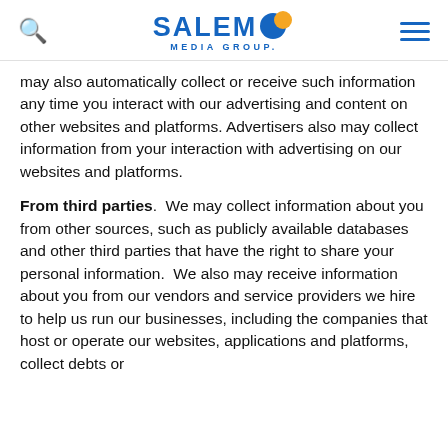Salem Media Group
may also automatically collect or receive such information any time you interact with our advertising and content on other websites and platforms. Advertisers also may collect information from your interaction with advertising on our websites and platforms.
From third parties.  We may collect information about you from other sources, such as publicly available databases and other third parties that have the right to share your personal information.  We also may receive information about you from our vendors and service providers we hire to help us run our businesses, including the companies that host or operate our websites, applications and platforms, collect debts or